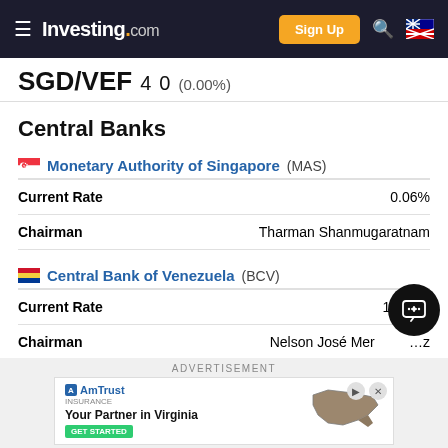Investing.com — Sign Up
SGD/VEF 4 0 (0.00%)
Central Banks
Monetary Authority of Singapore (MAS)
|  |  |
| --- | --- |
| Current Rate | 0.06% |
| Chairman | Tharman Shanmugaratnam |
Central Bank of Venezuela (BCV)
|  |  |
| --- | --- |
| Current Rate | 18.24% |
| Chairman | Nelson José Merentes |
ADVERTISEMENT
[Figure (screenshot): AmTrust Insurance advertisement — Your Partner in Virginia with map of Virginia and Get Started button]